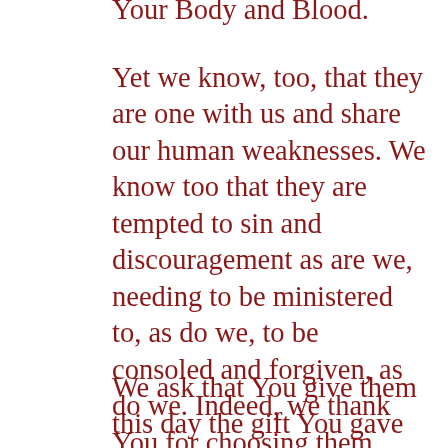Your Body and Blood.
Yet we know, too, that they are one with us and share our human weaknesses. We know too that they are tempted to sin and discouragement as are we, needing to be ministered to, as do we, to be consoled and forgiven, as do we. Indeed, we thank You for choosing them from among us, so that they understand us as we understand them, suffer with us and rejoice with us, worry with us and trust with us, share our beings, our lives, our faith.
We ask that You give them this day the gift You gave Your chosen ones on the way to Emmaus: Your presence in their